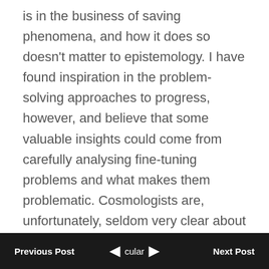is in the business of saving phenomena, and how it does so doesn't matter to epistemology. I have found inspiration in the problem-solving approaches to progress, however, and believe that some valuable insights could come from carefully analysing fine-tuning problems and what makes them problematic. Cosmologists are, unfortunately, seldom very clear about what they mean by fine-tuning and the problems associated with it, so real interpretive work can be required. The
Previous Post  ◄  cular  ►  Next Post